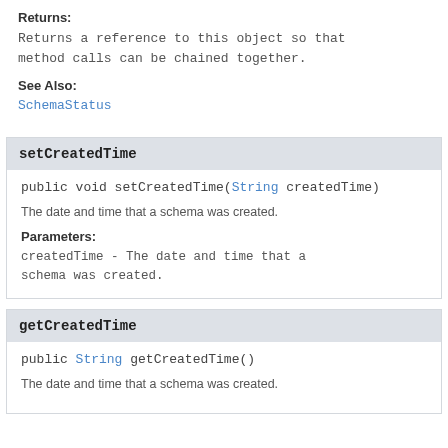Returns:
Returns a reference to this object so that method calls can be chained together.
See Also:
SchemaStatus
setCreatedTime
public void setCreatedTime(String createdTime)
The date and time that a schema was created.
Parameters:
createdTime - The date and time that a schema was created.
getCreatedTime
public String getCreatedTime()
The date and time that a schema was created.